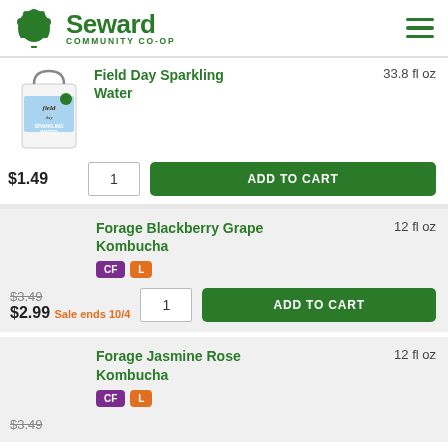Seward Community Co-op
Field Day Sparkling Water — 33.8 fl oz — $1.49
Forage Blackberry Grape Kombucha — 12 fl oz — $3.49 sale $2.99 Sale ends 10/4
Forage Jasmine Rose Kombucha — 12 fl oz — $3.49